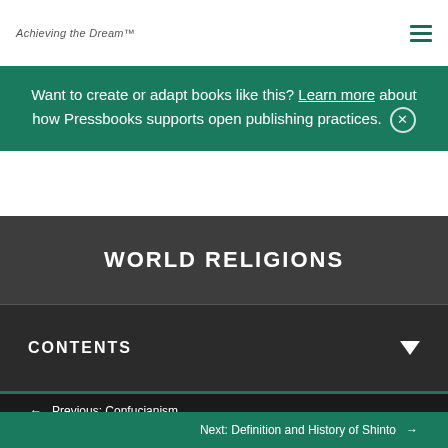Achieving the Dream™
Want to create or adapt books like this? Learn more about how Pressbooks supports open publishing practices.
WORLD RELIGIONS
CONTENTS
← Previous: Confucianism
Next: Definition and History of Shinto →